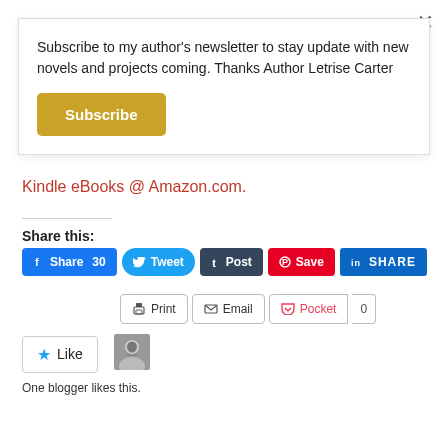Subscribe to my author's newsletter to stay update with new novels and projects coming. Thanks Author Letrise Carter
Subscribe
Kindle eBooks @ Amazon.com.
Share this:
Share 30  Tweet  Post  Save  SHARE  Print  Email  Pocket  0
Like
One blogger likes this.